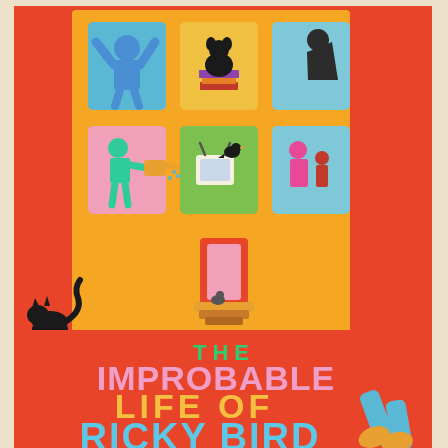[Figure (illustration): Book cover of 'The Improbable Life of Ricky Bird'. Red-orange background with a yellow apartment building facade showing six windows and a door. Windows contain illustrated characters: a blue person with raised arms, a black dog on books, a dark silhouette, a teal figure watering plants, a green window with TV and black bird, a pink/red window with family figures. A black cat walks at the bottom left of the building. Bottom half has large text: 'THE IMPROBABLE LIFE OF RICKY BIRD' in pink, yellow/orange, and cyan letters. Bottom right shows legs/feet sticking out.]